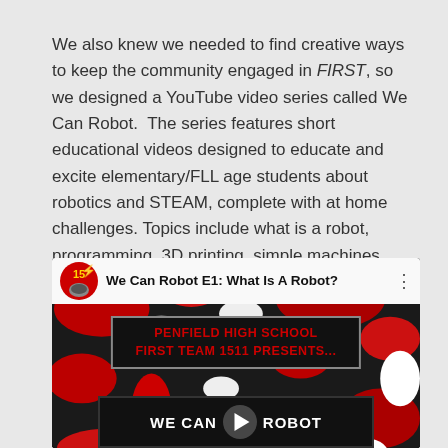We also knew we needed to find creative ways to keep the community engaged in FIRST, so we designed a YouTube video series called We Can Robot.  The series features short educational videos designed to educate and excite elementary/FLL age students about robotics and STEAM, complete with at home challenges. Topics include what is a robot, programming, 3D printing, simple machines, advocacy and more.  Click here to see the series on YouTube.
[Figure (screenshot): YouTube video thumbnail/preview for 'We Can Robot E1: What Is A Robot?' by Penfield High School FIRST Team 1511. Shows a red, black, and white camouflage background with text boxes reading 'PENFIELD HIGH SCHOOL FIRST TEAM 1511 PRESENTS...' and 'WE CAN ROBOT' with a play button in the center.]